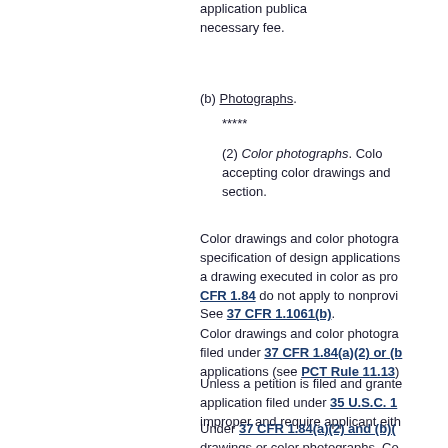application publication necessary fee.
(b) Photographs.
*****
(2) Color photographs. Color accepting color drawings and section.
Color drawings and color photographs specification of design applications a drawing executed in color as pro CFR 1.84 do not apply to nonprovi See 37 CFR 1.1061(b).
Color drawings and color photographs filed under 37 CFR 1.84(a)(2) or (b applications (see PCT Rule 11.13)
Unless a petition is filed and granted application filed under 35 U.S.C. 1 improper and require applicant eith
Under 37 CFR 1.84(a)(2) and (b)(2 drawings or color photographs. Co drawings are reproducible in black for accepting color drawings and b required if submitted via the Office